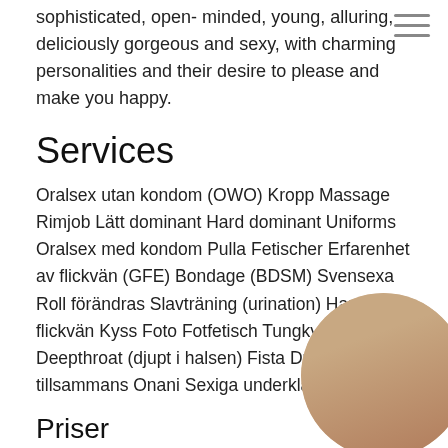sophisticated, open- minded, young, alluring, deliciously gorgeous and sexy, with charming personalities and their desire to please and make you happy.
Services
Oralsex utan kondom (OWO) Kropp Massage Rimjob Lätt dominant Hard dominant Uniforms Oralsex med kondom Pulla Fetischer Erfarenhet av flickvän (GFE) Bondage (BDSM) Svensexa Roll förändras Slavträning (urination) Har flickvän Kyss Foto Fotfetisch Tungkyssar Tortyr Deepthroat (djupt i halsen) Fista Duscha tillsammans Onani Sexiga underkläder...
Priser
|  | Incall | Outcall |
| --- | --- | --- |
| Quick | 900 SEK | 800 SEK |